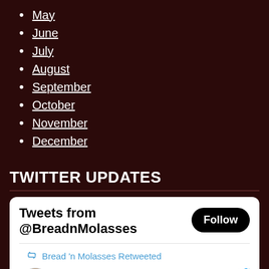May
June
July
August
September
October
November
December
TWITTER UPDATES
Tweets from @BreadnMolasses
Bread 'n Molasses Retweeted
Kellie Unde... @nbw... · Oct 21, 2017 Good morning! How do you like your coffee?